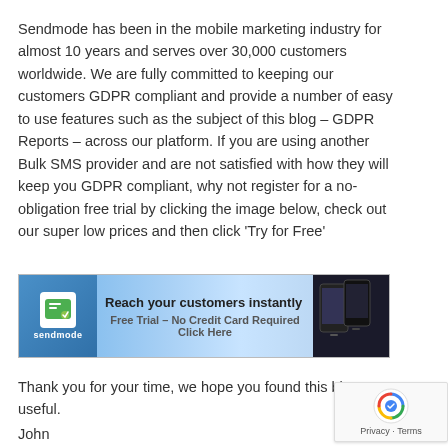Sendmode has been in the mobile marketing industry for almost 10 years and serves over 30,000 customers worldwide. We are fully committed to keeping our customers GDPR compliant and provide a number of easy to use features such as the subject of this blog – GDPR Reports – across our platform. If you are using another Bulk SMS provider and are not satisfied with how they will keep you GDPR compliant, why not register for a no-obligation free trial by clicking the image below, check out our super low prices and then click 'Try for Free'
[Figure (infographic): Sendmode banner ad with logo on left, text 'Reach your customers instantly / Free Trial – No Credit Card Required / Click Here' in center, and smartphone images on right]
Thank you for your time, we hope you found this blog useful.
John